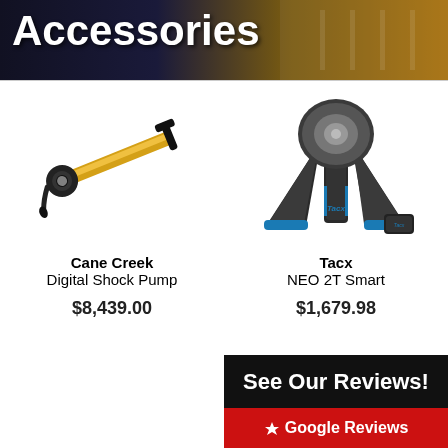Accessories
[Figure (photo): Cane Creek Digital Shock Pump - gold and black mini pump with pressure gauge]
Cane Creek
Digital Shock Pump
$8,439.00
[Figure (photo): Tacx NEO 2T Smart bike trainer - dark gray with blue accents and small Bluetooth dongle]
Tacx
NEO 2T Smart
$1,679.98
See Our Reviews!
Google Reviews